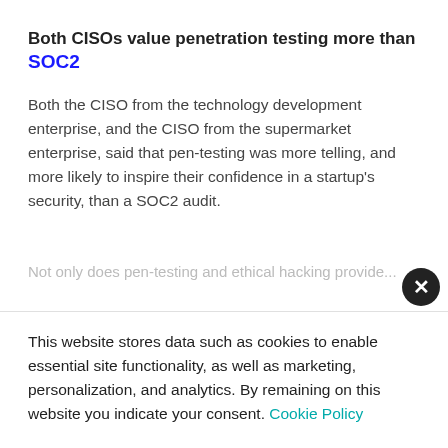Both CISOs value penetration testing more than SOC2
Both the CISO from the technology development enterprise, and the CISO from the supermarket enterprise, said that pen-testing was more telling, and more likely to inspire their confidence in a startup's security, than a SOC2 audit.
Not only does pen-testing and ethical hacking provide...
This website stores data such as cookies to enable essential site functionality, as well as marketing, personalization, and analytics. By remaining on this website you indicate your consent. Cookie Policy